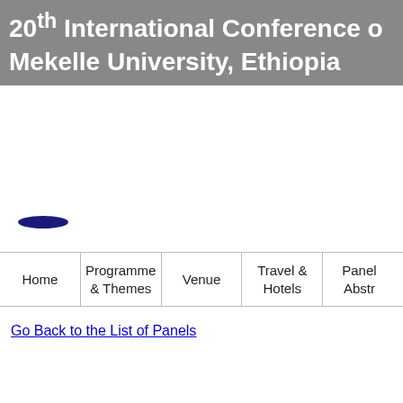20th International Conference o... Mekelle University, Ethiopia
[Figure (logo): Small dark blue oval/ellipse logo shape at lower left of center area]
Home | Programme & Themes | Venue | Travel & Hotels | Panel... Abstr...
Go Back to the List of Panels
... (bottom partial text)